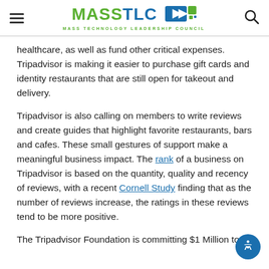MASS TLC - MASS TECHNOLOGY LEADERSHIP COUNCIL
healthcare, as well as fund other critical expenses. Tripadvisor is making it easier to purchase gift cards and identity restaurants that are still open for takeout and delivery.
Tripadvisor is also calling on members to write reviews and create guides that highlight favorite restaurants, bars and cafes. These small gestures of support make a meaningful business impact. The rank of a business on Tripadvisor is based on the quantity, quality and recency of reviews, with a recent Cornell Study finding that as the number of reviews increase, the ratings in these reviews tend to be more positive.
The Tripadvisor Foundation is committing $1 Million to